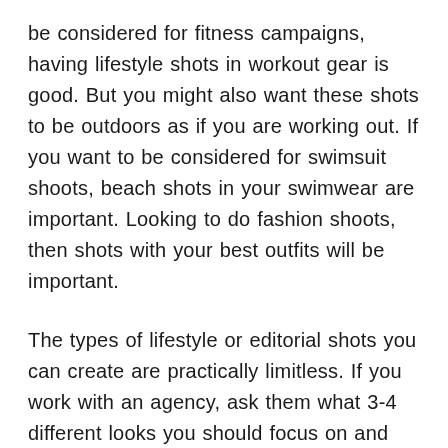be considered for fitness campaigns, having lifestyle shots in workout gear is good. But you might also want these shots to be outdoors as if you are working out. If you want to be considered for swimsuit shoots, beach shots in your swimwear are important. Looking to do fashion shoots, then shots with your best outfits will be important.
The types of lifestyle or editorial shots you can create are practically limitless. If you work with an agency, ask them what 3-4 different looks you should focus on and start there. If you do not have an agency yet, figure out the 3-4 different types of shoots you would like to be considered for.